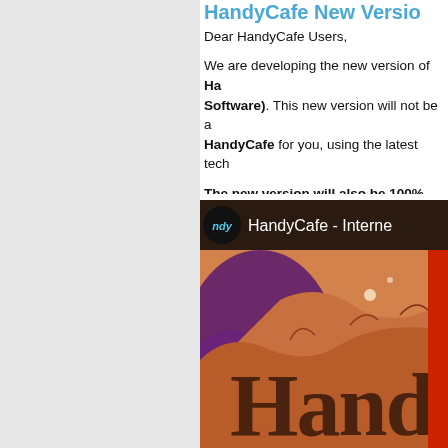HandyCafe New Version
Saturday, October 8th, 2011
Dear HandyCafe Users,
We are developing the new version of HandyCafe (Internet Cafe Software). This new version will not be a simple update. We are rebuilding HandyCafe for you, using the latest tech...
The new version will also be 100% fre...
Please stay in touch. Details about our new development of HandyCafe Internet Ca...
[Figure (screenshot): HandyCafe Internet Cafe software branding image with logo circle showing 'ndy', dark top bar with 'HandyCafe - Interne...' text, and a Mars-like terrain background with large 'Hand' text overlay and red accent bar on right]